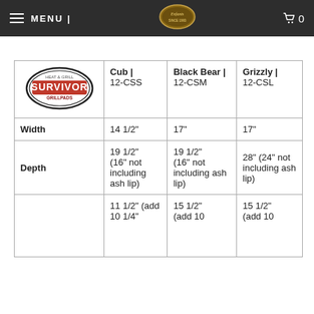MENU | [Enfants logo] 0
| [Survivor logo] | Cub | 12-CSS | Black Bear | 12-CSM | Grizzly | 12-CSL |
| --- | --- | --- | --- |
| Width | 14 1/2" | 17" | 17" |
| Depth | 19 1/2" (16" not including ash lip) | 19 1/2" (16" not including ash lip) | 28" (24" not including ash lip) |
|  | 11 1/2" (add 10 1/4" | 15 1/2" (add 10 | 15 1/2" (add 10 |